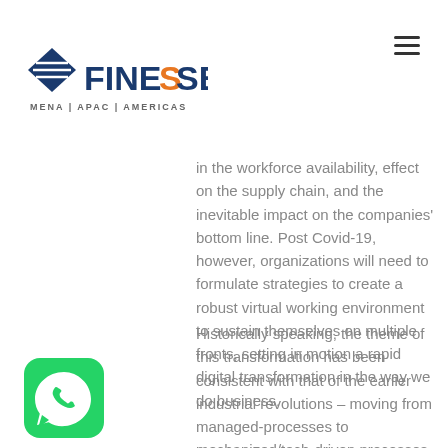[Figure (logo): Finesse logo with diamond/octagon blue icon and text FINESSE in dark blue with orange S-curve letter, tagline MENA | APAC | AMERICAS]
in the workforce availability, effect on the supply chain, and the inevitable impact on the companies' bottom line. Post Covid-19, however, organizations will need to formulate strategies to create a robust virtual working environment to sustain themselves on multiple fronts, setting in motion a rapid digital transformation in the way we do business.
Historically speaking, the theme of this transformation has been consistent with that of the earlier industrial revolutions – moving from managed-processes to mechanized/tech-driven processes. This speaks to the fact – survival of the fittest; with rapid adaptability and scalability being
[Figure (illustration): WhatsApp green chat bubble icon]